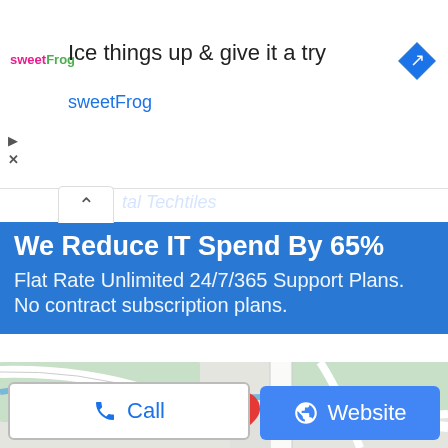[Figure (screenshot): sweetFrog advertisement banner with logo, headline 'Ice things up & give it a try', brand name 'sweetFrog', and blue navigation arrow icon]
Ice things up & give it a try
sweetFrog
tal Techtiles
We Reduce IT Spend By 65%
Flat Rate Unlimited 24/7/365 Support Plans. No contract subscription plans.
[Figure (map): Google Maps view showing road layout with a red location pin marker in the center]
Call
Website